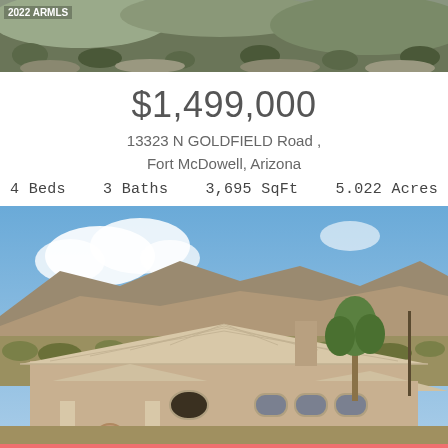[Figure (photo): Aerial/hillside desert landscape with rocky terrain and scrub vegetation, watermark '2022 ARMLS' at top left]
$1,499,000
13323 N GOLDFIELD Road ,
Fort McDowell, Arizona
4 Beds    3 Baths    3,695 SqFt    5.022 Acres
[Figure (photo): Aerial photo of a large Southwest-style stucco home with tile roof, surrounded by desert landscape and mountains in the background under a blue sky with clouds]
Call or Text (480) 510-5220